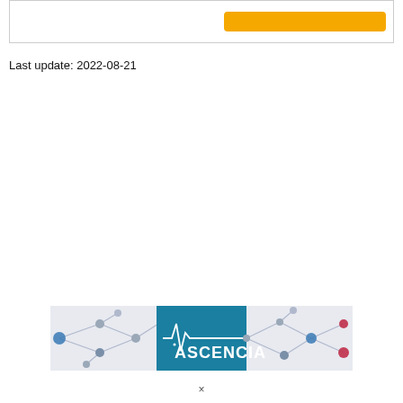[Figure (other): Top box with a yellow/gold button on the right side, partial view of a UI element]
Last update: 2022-08-21
[Figure (logo): Ascencia logo banner with network/node graphic on light grey background with teal center block showing Ascencia name and heartbeat line]
×